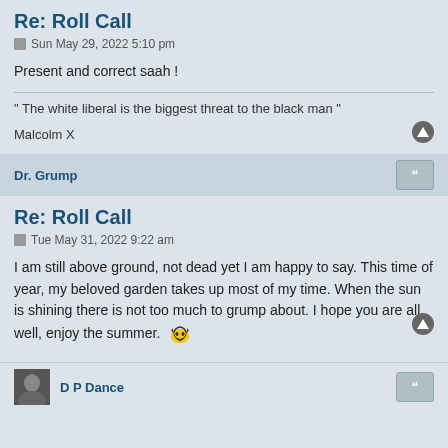Re: Roll Call
Sun May 29, 2022 5:10 pm
Present and correct saah !
" The white liberal is the biggest threat to the black man "

Malcolm X
Dr. Grump
Re: Roll Call
Tue May 31, 2022 9:22 am
I am still above ground, not dead yet I am happy to say. This time of year, my beloved garden takes up most of my time. When the sun is shining there is not too much to grump about. I hope you are all well, enjoy the summer.
D P Dance